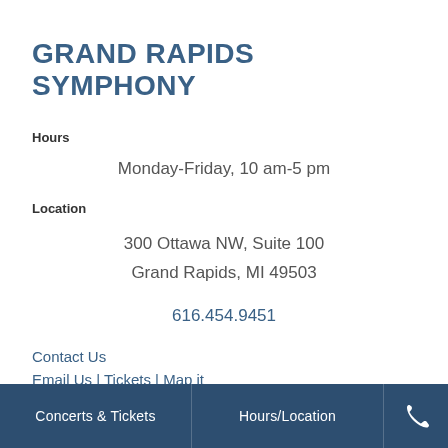GRAND RAPIDS SYMPHONY
Hours
Monday-Friday, 10 am-5 pm
Location
300 Ottawa NW, Suite 100
Grand Rapids, MI 49503
616.454.9451
Contact Us
Email Us | Tickets | Map it
Concerts & Tickets  Hours/Location  [phone icon]